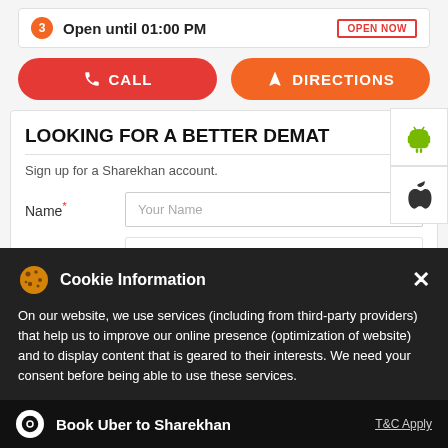Open until 01:00 PM   OPEN NOW
CALL
DIRECTIONS
LOOKING FOR A BETTER DEMAT
Sign up for a Sharekhan account.
Name* — Your Name (input field)
10 Digit Mobile Number (input field)
Cookie Information — On our website, we use services (including from third-party providers) that help us to improve our online presence (optimization of website) and to display content that is geared to their interests. We need your consent before being able to use these services.
Product*   Select*
Book Uber to Sharekhan
T&C Apply